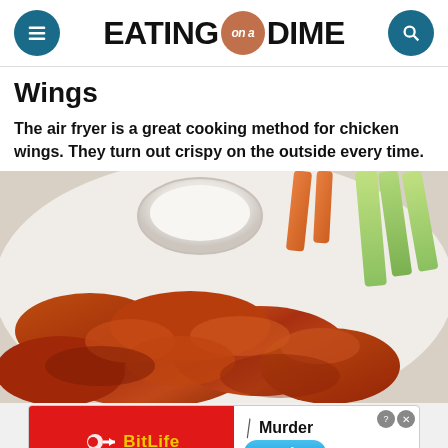EATING on a DIME
Wings
The air fryer is a great cooking method for chicken wings. They turn out crispy on the outside every time.
[Figure (photo): Plate of crispy air fryer chicken wings with dipping sauce, carrots, and celery sticks]
[Figure (other): BitLife advertisement banner with 'Murder - Do it!' text]